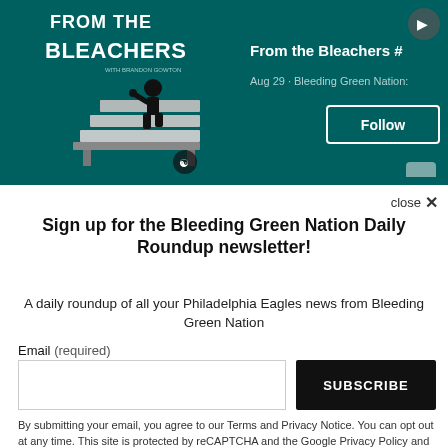[Figure (illustration): Podcast cover art for 'From the Bleachers' showing title text and a figure sitting in bleacher seats on a teal background]
From the Bleachers #
Aug 29 · Bleeding Green Nation:
Follow
close ×
Sign up for the Bleeding Green Nation Daily Roundup newsletter!
A daily roundup of all your Philadelphia Eagles news from Bleeding Green Nation
Email (required)
SUBSCRIBE
By submitting your email, you agree to our Terms and Privacy Notice. You can opt out at any time. This site is protected by reCAPTCHA and the Google Privacy Policy and Terms of Service apply.